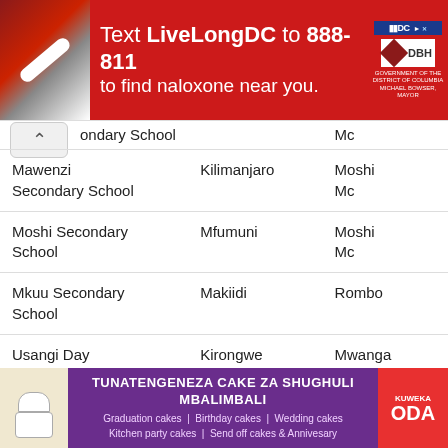[Figure (infographic): Red advertisement banner: Text LiveLongDC to 888-811 to find naloxone near you. DC and DOH logos top right.]
| School | Ward | District |  |
| --- | --- | --- | --- |
| ondary School |  | Mc |  |
| Mawenzi Secondary School | Kilimanjaro | Moshi Mc |  |
| Moshi Secondary School | Mfumuni | Moshi Mc |  |
| Mkuu Secondary School | Makiidi | Rombo |  |
| Usangi Day Secondary School | Kirongwe | Mwanga |  |
| Kisarika Secondary School | Uru Kaskazini | Moshi |  |
| Vudoi Secondary School | Mwanga | Mwanga |  |
| Nuru Secondary | Makiwaru | Siha |  |
[Figure (infographic): Purple advertisement banner: TUNATENGENEZA CAKE ZA SHUGHULI MBALIMBALI. Graduation cakes | Birthday cakes | Wedding cakes. Kitchen party cakes | Send off cakes & Annivesary. KUWEKA ODA button on right.]